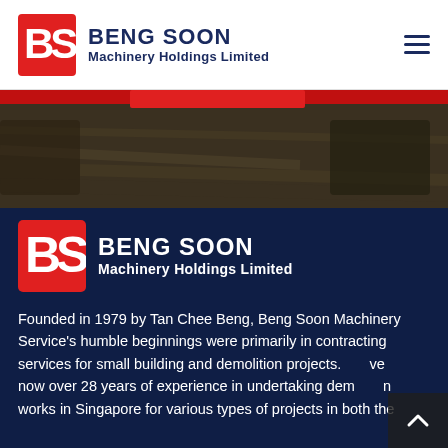[Figure (logo): Beng Soon Machinery Holdings Limited logo in header — red stylized BS lettermark with dark navy company name text]
[Figure (photo): Hero banner image strip: dark brown/construction site photo with a red button overlay]
[Figure (logo): Beng Soon Machinery Holdings Limited logo on dark navy background — white text with red BS lettermark]
Founded in 1979 by Tan Chee Beng, Beng Soon Machinery Service's humble beginnings were primarily in contracting services for small building and demolition projects. [We] have now over 28 years of experience in undertaking dem[olition] works in Singapore for various types of projects in both the